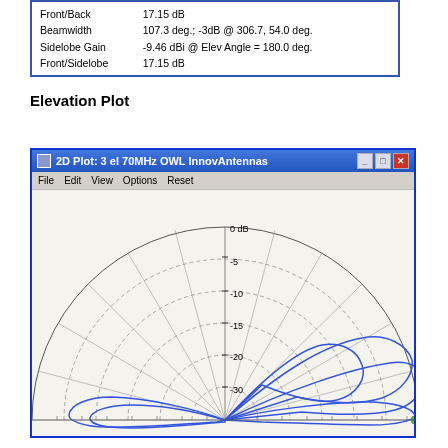| Front/Back | 17.15 dB |
| Beamwidth | 107.3 deg.; -3dB @ 306.7, 54.0 deg. |
| Sidelobe Gain | -9.46 dBi @ Elev Angle = 180.0 deg. |
| Front/Sidelobe | 17.15 dB |
Elevation Plot
[Figure (engineering-diagram): 2D elevation pattern plot from EZNEC Pro/4 software showing antenna radiation pattern for 3 el 70MHz OWL InnovAntennas. Semi-circular polar plot with dB scale rings at 0, -5, -10, -15, -20, -30 dB. Blue radiation pattern lobes shown at various elevation angles.]